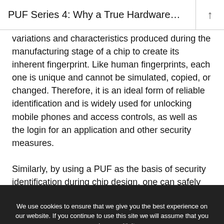PUF Series 4: Why a True Hardware…
variations and characteristics produced during the manufacturing stage of a chip to create its inherent fingerprint. Like human fingerprints, each one is unique and cannot be simulated, copied, or changed. Therefore, it is an ideal form of reliable identification and is widely used for unlocking mobile phones and access controls, as well as the login for an application and other security measures.

Similarly, by using a PUF as the basis of security identification during chip design, one can safely assume
We use cookies to ensure that we give you the best experience on our website. If you continue to use this site we will assume that you are happy with it.
Ok